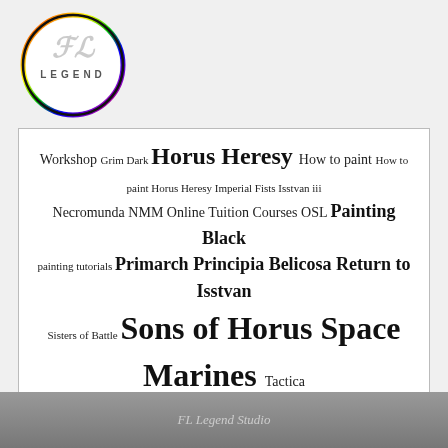[Figure (logo): FL Legend Studio circular logo with rainbow-colored border and stylized FL letters with LEGEND text]
Workshop Grim Dark Horus Heresy How to paint How to paint Horus Heresy Imperial Fists Isstvan iii Necromunda NMM Online Tuition Courses OSL Painting Black painting tutorials Primarch Principia Belicosa Return to Isstvan Sisters of Battle Sons of Horus Space Marines Tactica Titanicus TMM Tutorial Tutorials Ultramarines Warhammer Warhammer 30K Warhammer 40k Warhammer 40000 Weathering White Scars World Eaters
[Figure (photo): Partial photo at bottom of page showing miniature painting studio scene with text 'FL Legend Studio']